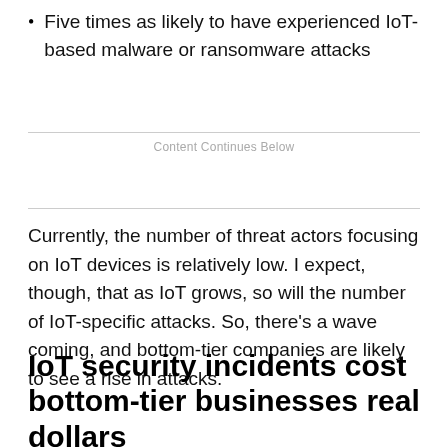Five times as likely to have experienced IoT-based malware or ransomware attacks
Content Continues Below
Currently, the number of threat actors focusing on IoT devices is relatively low. I expect, though, that as IoT grows, so will the number of IoT-specific attacks. So, there's a wave coming, and bottom-tier companies are likely to see a rise in attacks.
IoT security incidents cost bottom-tier businesses real dollars